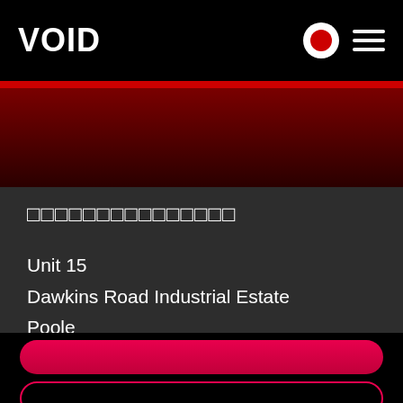[Figure (logo): VOID logo in white bold text on black header bar with record button icon and hamburger menu icon]
Unit 15
Dawkins Road Industrial Estate
Poole
Dorset